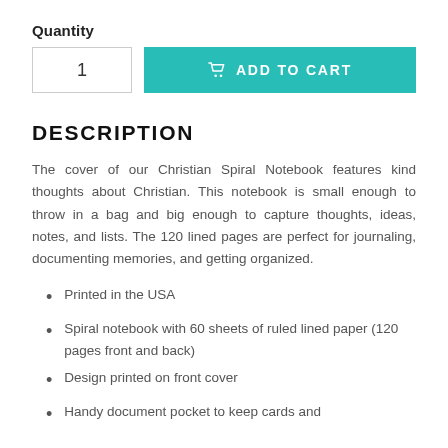Quantity
1
ADD TO CART
DESCRIPTION
The cover of our Christian Spiral Notebook features kind thoughts about Christian. This notebook is small enough to throw in a bag and big enough to capture thoughts, ideas, notes, and lists. The 120 lined pages are perfect for journaling, documenting memories, and getting organized.
Printed in the USA
Spiral notebook with 60 sheets of ruled lined paper (120 pages front and back)
Design printed on front cover
Handy document pocket to keep cards and